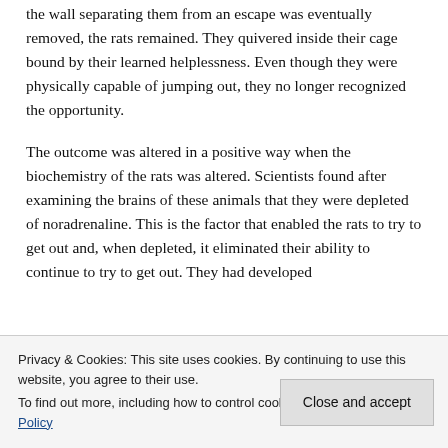the wall separating them from an escape was eventually removed, the rats remained. They quivered inside their cage bound by their learned helplessness. Even though they were physically capable of jumping out, they no longer recognized the opportunity.
The outcome was altered in a positive way when the biochemistry of the rats was altered. Scientists found after examining the brains of these animals that they were depleted of noradrenaline. This is the factor that enabled the rats to try to get out and, when depleted, it eliminated their ability to continue to try to get out. They had developed
Privacy & Cookies: This site uses cookies. By continuing to use this website, you agree to their use.
To find out more, including how to control cookies, see here: Cookie Policy
Close and accept